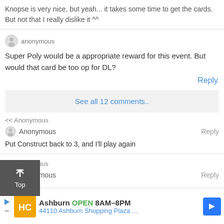Knopse is very nice, but yeah... it takes some time to get the cards. But not that I really dislike it ^^
anonymous
Super Poly would be a appropriate reward for this event. But would that card be too op for DL?
Reply
See all 12 comments..
<< Anonymous
Anonymous
Reply
Put Construct back to 3, and I'll play again
<< Anonymous
Anonymous
Reply
IM
[Figure (infographic): Advertisement banner: HC logo, Ashburn OPEN 8AM-8PM, 44110 Ashburn Shopping Plaza..., blue navigation arrow icon]